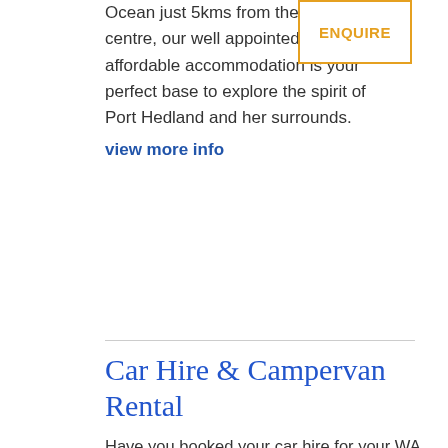Ocean just 5kms from the town centre, our well appointed and affordable accommodation is your perfect base to explore the spirit of Port Hedland and her surrounds.
view more info
[Figure (other): ENQUIRE button with orange border]
Car Hire & Campervan Rental
Have you booked your car hire for your WA holiday? The cheapest car hire and campervan